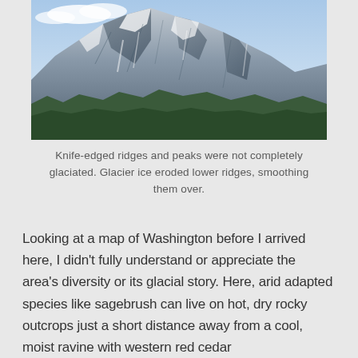[Figure (photo): Photograph of a snow-dusted rocky mountain with jagged ridges and scattered evergreen trees against a blue sky with clouds.]
Knife-edged ridges and peaks were not completely glaciated. Glacier ice eroded lower ridges, smoothing them over.
Looking at a map of Washington before I arrived here, I didn’t fully understand or appreciate the area’s diversity or its glacial story. Here, arid adapted species like sagebrush can live on hot, dry rocky outcrops just a short distance away from a cool, moist ravine with western red cedar